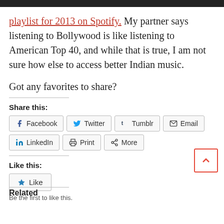playlist for 2013 on Spotify. My partner says listening to Bollywood is like listening to American Top 40, and while that is true, I am not sure how else to access better Indian music.
Got any favorites to share?
Share this:
Facebook  Twitter  Tumblr  Email  LinkedIn  Print  More
Like this:
Like
Be the first to like this.
Related